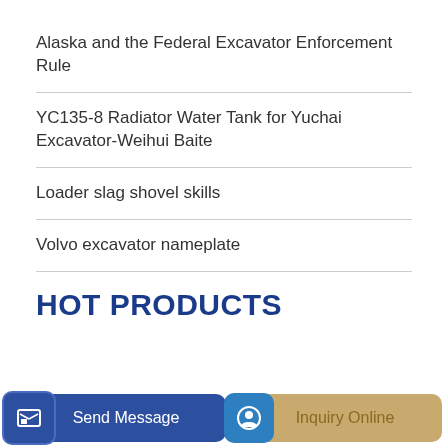Alaska and the Federal Excavator Enforcement Rule
YC135-8 Radiator Water Tank for Yuchai Excavator-Weihui Baite
Loader slag shovel skills
Volvo excavator nameplate
HOT PRODUCTS